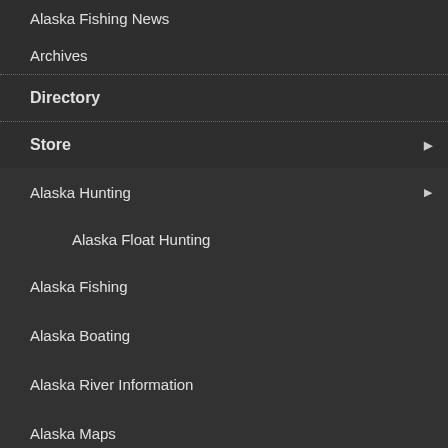Alaska Fishing News
Archives
Directory
Store
Alaska Hunting
Alaska Float Hunting
Alaska Fishing
Alaska Boating
Alaska River Information
Alaska Maps